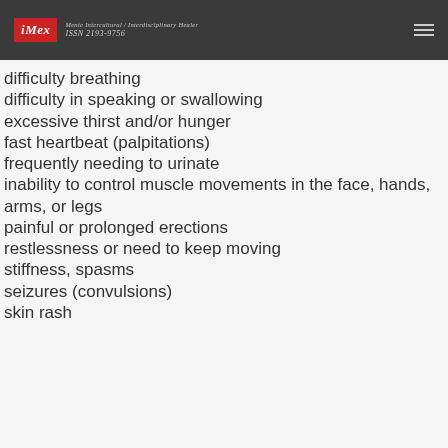iMex — Mente Intercultural / Interdisciplinary Healer — ISSN 2193-9756
difficulty breathing
difficulty in speaking or swallowing
excessive thirst and/or hunger
fast heartbeat (palpitations)
frequently needing to urinate
inability to control muscle movements in the face, hands, arms, or legs
painful or prolonged erections
restlessness or need to keep moving
stiffness, spasms
seizures (convulsions)
skin rash